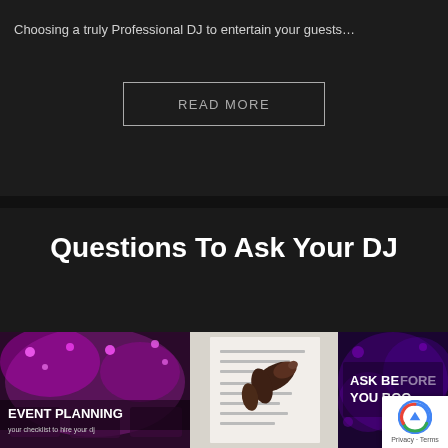Choosing a truly Professional DJ to entertain your guests…
READ MORE
Questions To Ask Your DJ
[Figure (photo): Three thumbnail images side by side: left shows an event planning photo with pink/purple lighting and tables, center shows a hand pointing at a checklist/paperwork document, right shows a purple-lit scene with text 'ASK BEFORE YOU BOO' (truncated). A reCAPTCHA badge is overlaid on the bottom-right corner.]